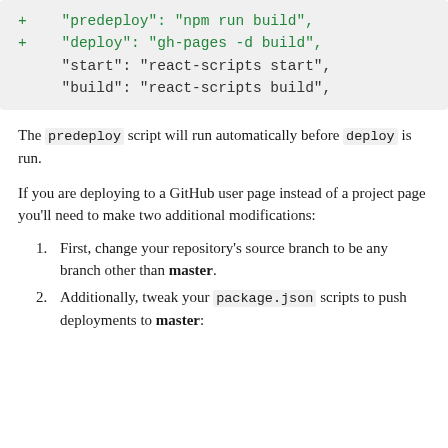[Figure (screenshot): Code block showing diff with added lines for predeploy and deploy scripts, and unchanged lines for start and build scripts]
The predeploy script will run automatically before deploy is run.
If you are deploying to a GitHub user page instead of a project page you'll need to make two additional modifications:
First, change your repository's source branch to be any branch other than master.
Additionally, tweak your package.json scripts to push deployments to master: